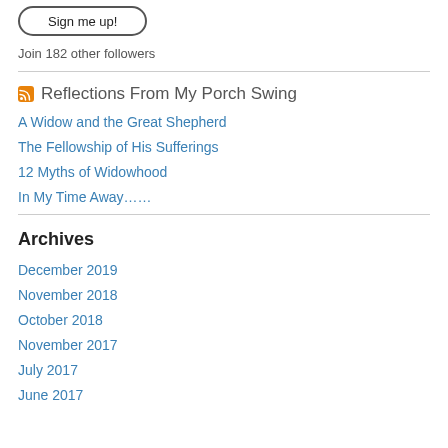[Figure (other): Sign me up! button with rounded border]
Join 182 other followers
Reflections From My Porch Swing
A Widow and the Great Shepherd
The Fellowship of His Sufferings
12 Myths of Widowhood
In My Time Away……
Archives
December 2019
November 2018
October 2018
November 2017
July 2017
June 2017